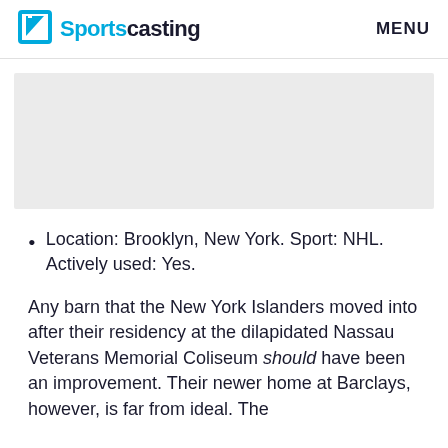Sportscasting  MENU
[Figure (other): Gray rectangular advertisement placeholder banner]
Location: Brooklyn, New York. Sport: NHL. Actively used: Yes.
Any barn that the New York Islanders moved into after their residency at the dilapidated Nassau Veterans Memorial Coliseum should have been an improvement. Their newer home at Barclays, however, is far from ideal. The